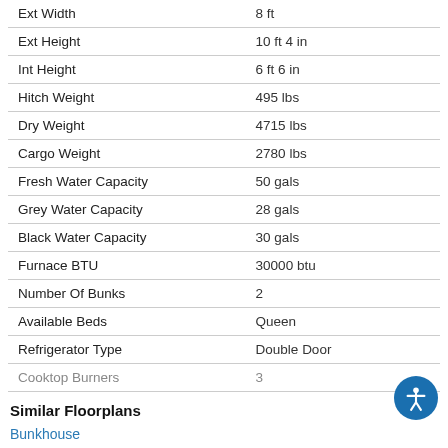| Specification | Value |
| --- | --- |
| Ext Width | 8 ft |
| Ext Height | 10 ft 4 in |
| Int Height | 6 ft 6 in |
| Hitch Weight | 495 lbs |
| Dry Weight | 4715 lbs |
| Cargo Weight | 2780 lbs |
| Fresh Water Capacity | 50 gals |
| Grey Water Capacity | 28 gals |
| Black Water Capacity | 30 gals |
| Furnace BTU | 30000 btu |
| Number Of Bunks | 2 |
| Available Beds | Queen |
| Refrigerator Type | Double Door |
| Cooktop Burners | 3 |
Similar Floorplans
Bunkhouse